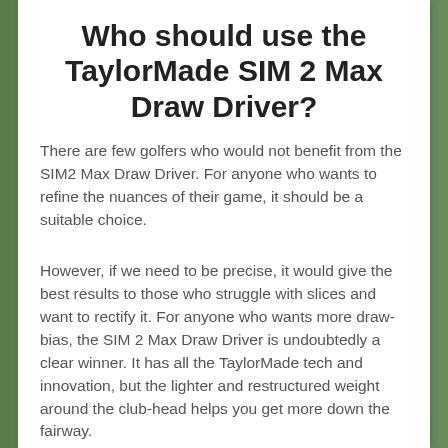Who should use the TaylorMade SIM 2 Max Draw Driver?
There are few golfers who would not benefit from the SIM2 Max Draw Driver. For anyone who wants to refine the nuances of their game, it should be a suitable choice.
However, if we need to be precise, it would give the best results to those who struggle with slices and want to rectify it. For anyone who wants more draw-bias, the SIM 2 Max Draw Driver is undoubtedly a clear winner. It has all the TaylorMade tech and innovation, but the lighter and restructured weight around the club-head helps you get more down the fairway.